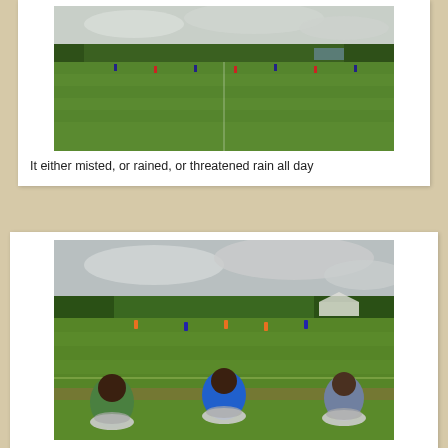[Figure (photo): Outdoor soccer/football field with players on the pitch, trees and buildings in background, overcast cloudy sky]
It either misted, or rained, or threatened rain all day
[Figure (photo): Outdoor soccer/football field with players in orange and blue uniforms, three men sitting on white tire/rubber seats in foreground watching the match, overcast sky and trees in background]
This is also typical of Belize.....make due with something that works great and is free to obtain